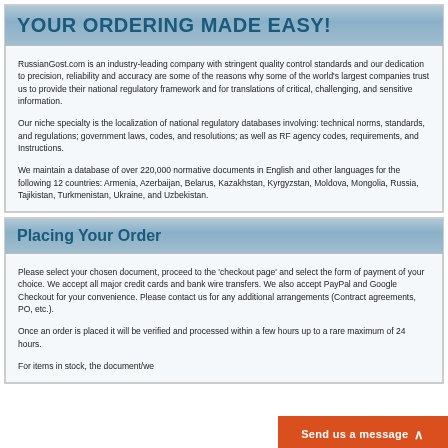YOUR ORDERING MADE EASY!
RussianGost.com is an industry-leading company with stringent quality control standards and our dedication to precision, reliability and accuracy are some of the reasons why some of the world’s largest companies trust us to provide their national regulatory framework and for translations of critical, challenging, and sensitive information.
Our niche specialty is the localization of national regulatory databases involving: technical norms, standards, and regulations; government laws, codes, and resolutions; as well as RF agency codes, requirements, and Instructions.
We maintain a database of over 220,000 normative documents in English and other languages for the following 12 countries: Armenia, Azerbaijan, Belarus, Kazakhstan, Kyrgyzstan, Moldova, Mongolia, Russia, Tajikistan, Turkmenistan, Ukraine, and Uzbekistan.
Placing Your Order
Please select your chosen document, proceed to the ‘checkout page’ and select the form of payment of your choice. We accept all major credit cards and bank wire transfers. We also accept PayPal and Google Checkout for your convenience. Please contact us for any additional arrangements (Contract agreements, PO, etc.).
Once an order is placed it will be verified and processed within a few hours up to a rare maximum of 24 hours.
For items in stock, the document/we...